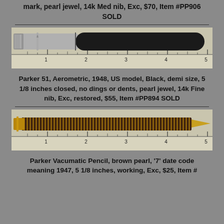mark, pearl jewel, 14k Med nib, Exc, $70, Item #PP906 SOLD
[Figure (photo): Parker 51 fountain pen, silver cap and black barrel, shown on a ruler measuring approximately 5 inches]
Parker 51, Aerometric, 1948, US model, Black, demi size, 5 1/8 inches closed, no dings or dents, pearl jewel, 14k Fine nib, Exc, restored, $55, Item #PP894 SOLD
[Figure (photo): Parker Vacumatic pencil, brown pearl with gold filled rings, shown on a ruler measuring approximately 5 inches]
Parker Vacumatic Pencil, brown pearl, '7' date code meaning 1947, 5 1/8 inches, working, Exc, $25, Item #